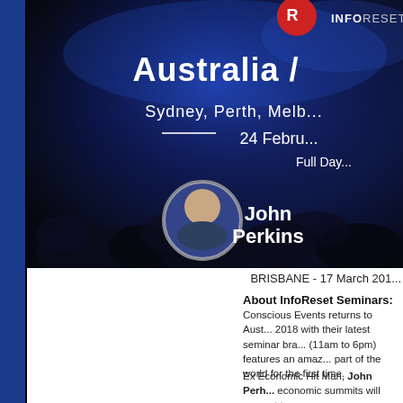[Figure (photo): Event banner image for InfoReset Seminars Australia tour showing a dark auditorium crowd with blue lighting. Text overlays read: INFORESET, Australia /, Sydney, Perth, Melb..., 24 Febru..., Full Day..., John Perkins. A circular headshot of John Perkins is visible on the right side.]
BRISBANE - 17 March 201...
About InfoReset Seminars:
Conscious Events returns to Aust... 2018 with their latest seminar bra... (11am to 6pm) features an amaz... part of the world for the first time.
Ex Economic Hit Man, John Perh... economic summits will present t...